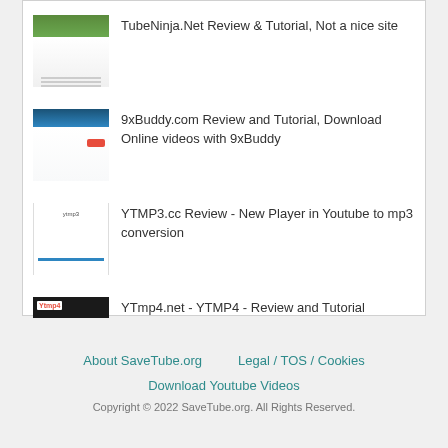TubeNinja.Net Review & Tutorial, Not a nice site
9xBuddy.com Review and Tutorial, Download Online videos with 9xBuddy
YTMP3.cc Review - New Player in Youtube to mp3 conversion
YTmp4.net - YTMP4 - Review and Tutorial (powered by Youtube-DL)
About SaveTube.org   Legal / TOS / Cookies   Download Youtube Videos   Copyright © 2022 SaveTube.org. All Rights Reserved.